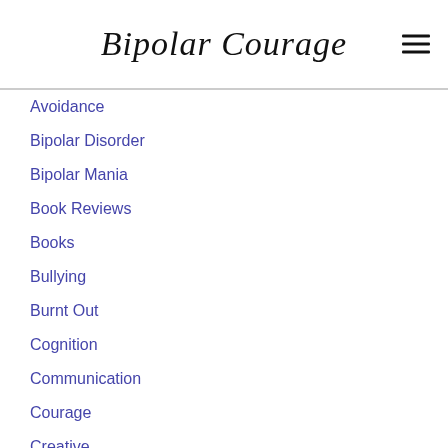Bipolar Courage
Avoidance
Bipolar Disorder
Bipolar Mania
Book Reviews
Books
Bullying
Burnt Out
Cognition
Communication
Courage
Creative
Depression
Diagnosis
Disabilities
Dissociation
Domestic Violence
Emotional Balance